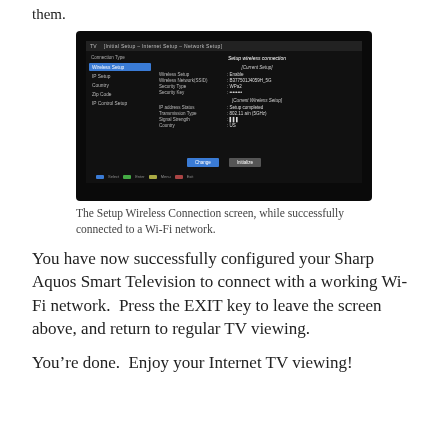them.
[Figure (screenshot): A Sharp Aquos TV screen showing the Setup Wireless Connection screen with Current Setup and Current Wireless Setup sections, displaying network name, security type WPA2, IP address status as Setup completed, Transmission Type 802.11 a/n (5GHz), and signal strength indicator.]
The Setup Wireless Connection screen, while successfully connected to a Wi-Fi network.
You have now successfully configured your Sharp Aquos Smart Television to connect with a working Wi-Fi network.  Press the EXIT key to leave the screen above, and return to regular TV viewing.
You’re done.  Enjoy your Internet TV viewing!